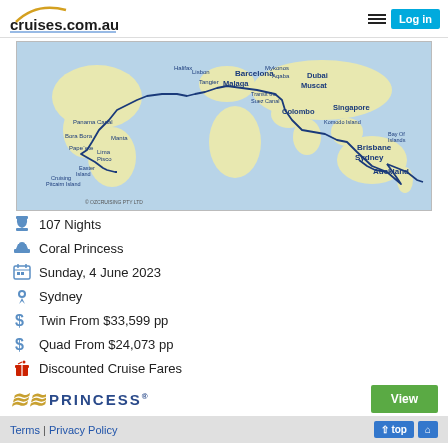cruises.com.au | Log in
[Figure (map): World cruise route map showing path from Sydney/Auckland through Singapore, Colombo, Dubai, Muscat, through Suez Canal, Barcelona, Malaga, across Atlantic through Panama Canal, Bora Bora, Papeete, Easter Island, Lima/Pisco, Manta, back to Sydney. Labels include: Dubai, Muscat, Barcelona, Malaga, Mykonos, Aqaba, Lisbon, Halifax, Tangier, Transit the Suez Canal, Colombo, Singapore, Komodo Island, Bay Of Islands, Brisbane, Sydney, Auckland, Panama Canal, Bora Bora, Papeete, Easter Island, Cruising Pitcairn Island, Lima Pisco, Manta. Copyright OZCRUISING PTY LTD]
107 Nights
Coral Princess
Sunday, 4 June 2023
Sydney
Twin From $33,599 pp
Quad From $24,073 pp
Discounted Cruise Fares
[Figure (logo): Princess Cruises logo with wave symbol and PRINCESS text]
Terms | Privacy Policy   ↑ top  🏠